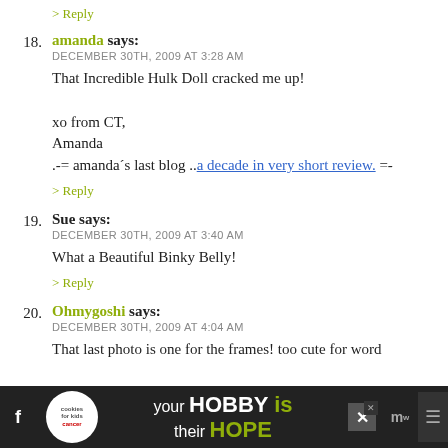> Reply
18. amanda says:
DECEMBER 30TH, 2009 AT 3:28 AM

That Incredible Hulk Doll cracked me up!

xo from CT,
Amanda
.-= amanda's last blog ..a decade in very short review. =-

> Reply
19. Sue says:
DECEMBER 30TH, 2009 AT 3:40 AM

What a Beautiful Binky Belly!

> Reply
20. Ohmygoshi says:
DECEMBER 30TH, 2009 AT 4:04 AM

That last photo is one for the frames! too cute for word
[Figure (screenshot): Advertisement banner: cookies for kid cancer, 'your HOBBY is their HOPE']